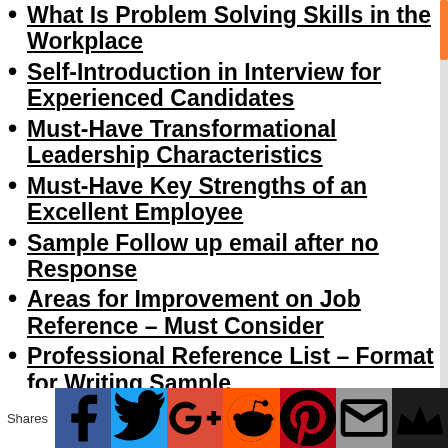What Is Problem Solving Skills in the Workplace
Self-Introduction in Interview for Experienced Candidates
Must-Have Transformational Leadership Characteristics
Must-Have Key Strengths of an Excellent Employee
Sample Follow up email after no Response
Areas for Improvement on Job Reference – Must Consider
Professional Reference List – Format for Writing Sample
Advantages of Business